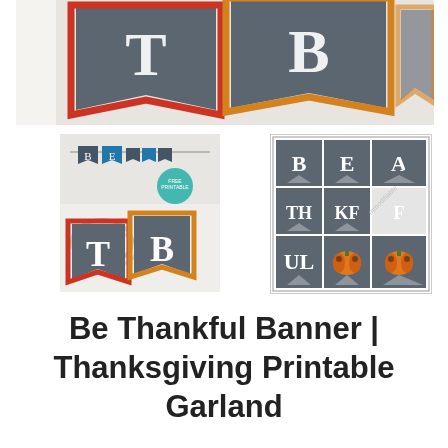[Figure (photo): Close-up photo of chalkboard-style pennant banner flags with letters T and B visible, in dark gray with orange and red borders, on a white surface]
[Figure (photo): Small thumbnail image showing a Be Thankful printable banner with chalkboard pennant flags hanging on a string, with a teal circular 'Printable' badge]
[Figure (photo): Printable sheet layout showing chalkboard pennant flags with letters B, E, A, N, T, H, K, F, U, L and pumpkin graphics arranged in a grid]
Be Thankful Banner | Thanksgiving Printable Garland